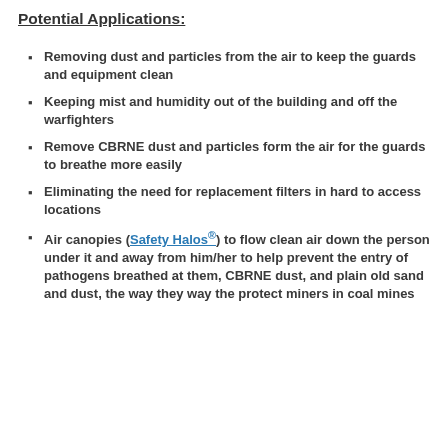Potential Applications:
Removing dust and particles from the air to keep the guards and equipment clean
Keeping mist and humidity out of the building and off the warfighters
Remove CBRNE dust and particles form the air for the guards to breathe more easily
Eliminating the need for replacement filters in hard to access locations
Air canopies (Safety Halos®) to flow clean air down the person under it and away from him/her to help prevent the entry of pathogens breathed at them, CBRNE dust, and plain old sand and dust, the way they way the protect miners in coal mines